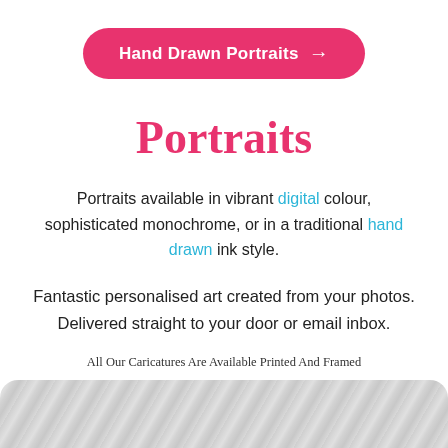[Figure (other): Pink rounded rectangle button with white text 'Hand Drawn Portraits →']
Portraits
Portraits available in vibrant digital colour, sophisticated monochrome, or in a traditional hand drawn ink style.
Fantastic personalised art created from your photos. Delivered straight to your door or email inbox.
All Our Caricatures Are Available Printed And Framed
[Figure (photo): Light gray textured background image at bottom of page]